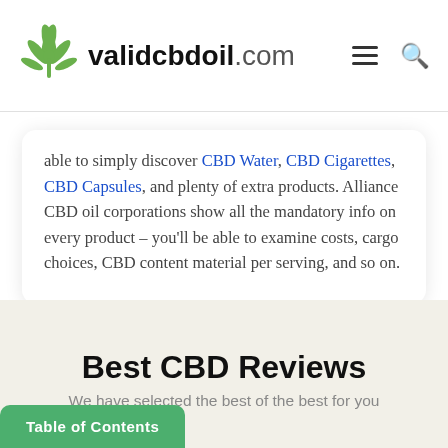validcbdoil.com
able to simply discover CBD Water, CBD Cigarettes, CBD Capsules, and plenty of extra products. Alliance CBD oil corporations show all the mandatory info on every product – you'll be able to examine costs, cargo choices, CBD content material per serving, and so on.
Best CBD Reviews
We have selected the best of the best for you
Table of Contents